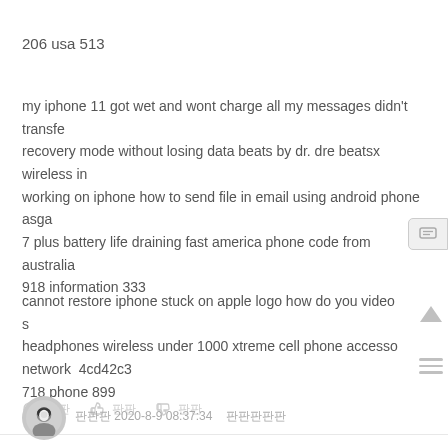206 usa 513
my iphone 11 got wet and wont charge all my messages didn't transfe recovery mode without losing data beats by dr. dre beatsx wireless in working on iphone how to send file in email using android phone asga 7 plus battery life draining fast america phone code from australia 918 information 333
cannot restore iphone stuck on apple logo how do you video s headphones wireless under 1000 xtreme cell phone accesso network  4cd42c3 718 phone 899
판판판 2020-8-9 08:37:34    판판판판판